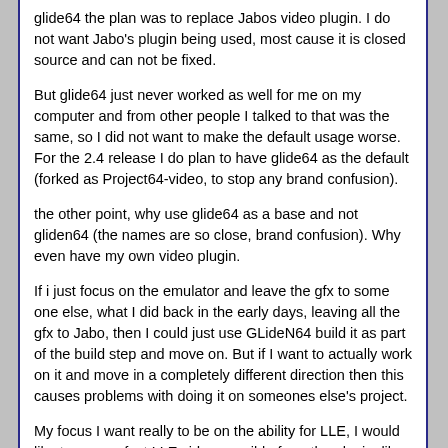glide64 the plan was to replace Jabos video plugin. I do not want Jabo's plugin being used, most cause it is closed source and can not be fixed.
But glide64 just never worked as well for me on my computer and from other people I talked to that was the same, so I did not want to make the default usage worse. For the 2.4 release I do plan to have glide64 as the default (forked as Project64-video, to stop any brand confusion).
the other point, why use glide64 as a base and not gliden64 (the names are so close, brand confusion). Why even have my own video plugin.
If i just focus on the emulator and leave the gfx to some one else, what I did back in the early days, leaving all the gfx to Jabo, then I could just use GLideN64 build it as part of the build step and move on. But if I want to actually work on it and move in a completely different direction then this causes problems with doing it on someones else's project.
My focus I want really to be on the ability for LLE, I would like to see perfect LLE video possible from the plugin, like what angrylions one does, but this I want for testing, not really for end users. Forking GLideN64 and doing the work there just causes more fragmentation and does not really help. Things like Higher system requirements as well I do not like, I can live with if I have to but I prefer to try it getting working on lower end machines (which may not be possible). The other thing with having my own fork/gfx